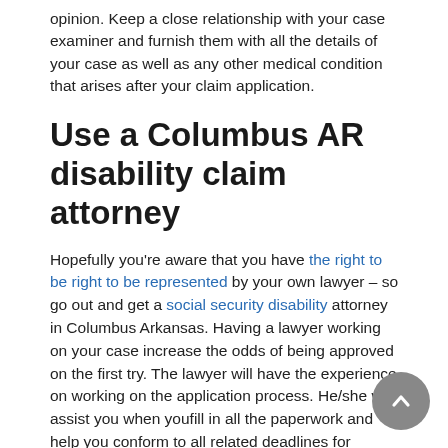opinion. Keep a close relationship with your case examiner and furnish them with all the details of your case as well as any other medical condition that arises after your claim application.
Use a Columbus AR disability claim attorney
Hopefully you're aware that you have the right to be right to be represented by your own lawyer – so go out and get a social security disability attorney in Columbus Arkansas. Having a lawyer working on your case increase the odds of being approved on the first try. The lawyer will have the experience on working on the application process. He/she will assist you when youfill in all the paperwork and help you conform to all related deadlines for submission of claim details. It will be the work of your lawyer to work directly with your examiner on the answers on your behalf.